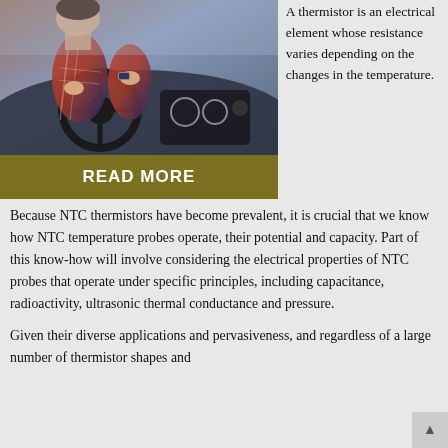[Figure (photo): Person driving a car, hands on steering wheel, wearing a plaid shirt and watch, car dashboard visible]
READ MORE
A thermistor is an electrical element whose resistance varies depending on the changes in the temperature.
Because NTC thermistors have become prevalent, it is crucial that we know how NTC temperature probes operate, their potential and capacity. Part of this know-how will involve considering the electrical properties of NTC probes that operate under specific principles, including capacitance, radioactivity, ultrasonic thermal conductance and pressure.
Given their diverse applications and pervasiveness, and regardless of a large number of thermistor shapes and sizes, it is possible to categorize and NTC...